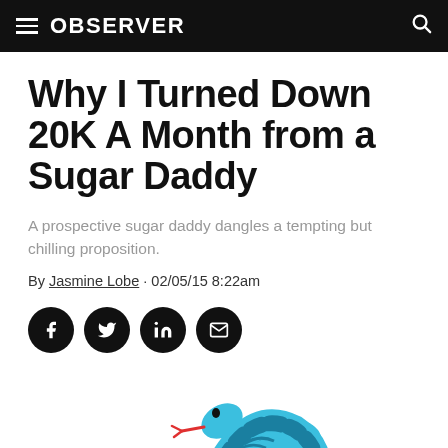OBSERVER
Why I Turned Down 20K A Month from a Sugar Daddy
A prospective sugar daddy dangles a tempting but chilling proposition.
By Jasmine Lobe · 02/05/15 8:22am
[Figure (illustration): Social share buttons: Facebook, Twitter, LinkedIn, Email - black circular icons]
[Figure (illustration): Illustration of a blue snake with a red forked tongue, decorative dark blue pattern on body, partially visible at bottom of page]